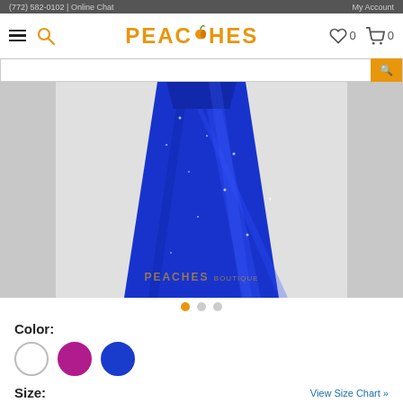(772) 582-0102 | Online Chat   My Account
PEACHES  0  0
[Figure (photo): A model wearing a royal blue satin ballgown/formal dress with scattered sparkle details. The image shows the lower portion of the dress from waist down, showing the full skirt against a light grey background. A 'PEACHES BOUTIQUE' watermark is overlaid on the image.]
Color:
Size:
View Size Chart »